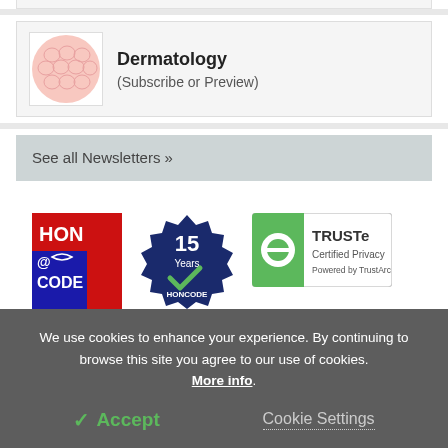[Figure (illustration): Dermatology newsletter thumbnail - pink circular skin cell pattern]
Dermatology
(Subscribe or Preview)
See all Newsletters »
[Figure (logo): HON CODE logo - red background with blue panel showing @, CODE text]
[Figure (logo): 15 Years HONCODE badge - dark blue badge with checkmark]
[Figure (logo): TRUSTe Certified Privacy - Powered by TrustArc logo]
We use cookies to enhance your experience. By continuing to browse this site you agree to our use of cookies. More info.
✓ Accept
Cookie Settings